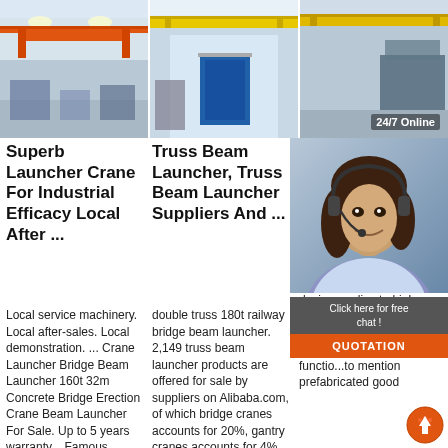[Figure (photo): Industrial factory interior with orange overhead crane/launcher]
[Figure (photo): Factory interior with yellow overhead truss beam launcher and blue door]
[Figure (photo): Factory interior with yellow overhead bridge girder crane and machinery]
Superb Launcher Crane For Industrial Efficacy Local After ...
Local service machinery. Local after-sales. Local demonstration. ... Crane Launcher Bridge Beam Launcher 160t 32m Concrete Bridge Erection Crane Beam Launcher For Sale. Up to 5 years warranty... Famous
Truss Beam Launcher, Truss Beam Launcher Suppliers And ...
double truss 180t railway bridge beam launcher. 2,149 truss beam launcher products are offered for sale by suppliers on Alibaba.com, of which bridge cranes accounts for 20%, gantry cranes accounts for 4%, and truss display accounts for 1%. A
1-700t Bridge Girder Design
1.Descr... Bridge G... Launcher... beam bridge launcher girder crane design applies to highway, railway bridges to the construction site of bridge constru..d, its main functio...to mention prefabricated good
[Figure (photo): Customer service representative with headset - 24/7 Online chat widget with Click here for free chat and QUOTATION button]